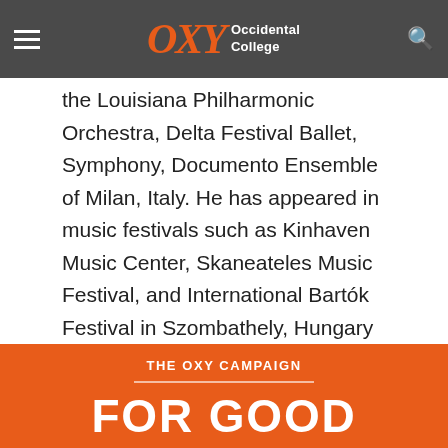OXY Occidental College — navigation bar
the Louisiana Philharmonic Orchestra, Delta Festival Ballet, Symphony, Documento Ensemble of Milan, Italy. He has appeared in music festivals such as Kinhaven Music Center, Skaneateles Music Festival, and International Bartók Festival in Szombathely, Hungary among others. Each summer he is a part of the faculty at Cortona Sessions for New Music, where he teaches conducting and helps premiere new works by composers from around the world.
THE OXY CAMPAIGN
FOR GOOD